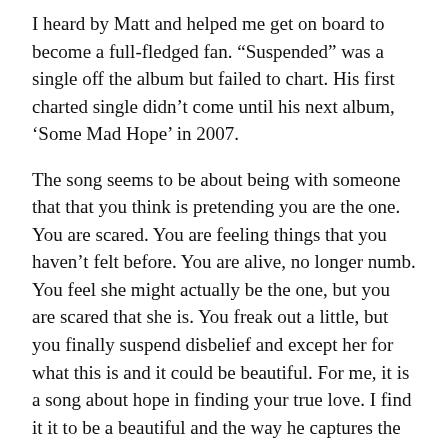I heard by Matt and helped me get on board to become a full-fledged fan. “Suspended” was a single off the album but failed to chart. His first charted single didn’t come until his next album, ‘Some Mad Hope’ in 2007.
The song seems to be about being with someone that that you think is pretending you are the one. You are scared. You are feeling things that you haven’t felt before. You are alive, no longer numb. You feel she might actually be the one, but you are scared that she is. You freak out a little, but you finally suspend disbelief and except her for what this is and it could be beautiful. For me, it is a song about hope in finding your true love. I find it it to be a beautiful and the way he captures the emotions in the lyrics is amazing.
Musically, it is a pop song, plain and simple. Nice beats